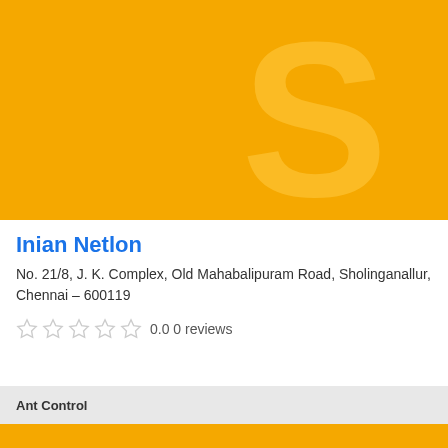[Figure (illustration): Yellow background business listing banner with a large semi-transparent letter S in the lower right area]
Inian Netlon
No. 21/8, J. K. Complex, Old Mahabalipuram Road, Sholinganallur, Chennai - 600119
0.0 0 reviews
Ant Control